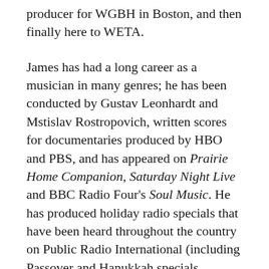producer for WGBH in Boston, and then finally here to WETA.
James has had a long career as a musician in many genres; he has been conducted by Gustav Leonhardt and Mstislav Rostropovich, written scores for documentaries produced by HBO and PBS, and has appeared on Prairie Home Companion, Saturday Night Live and BBC Radio Four's Soul Music. He has produced holiday radio specials that have been heard throughout the country on Public Radio International (including Passover and Hanukkah specials featuring Itzhak Perlman), and his writing has appeared in The Washington Post and Moment Magazine. He continues to teach and compose, and his recent projects include designing the sound for a